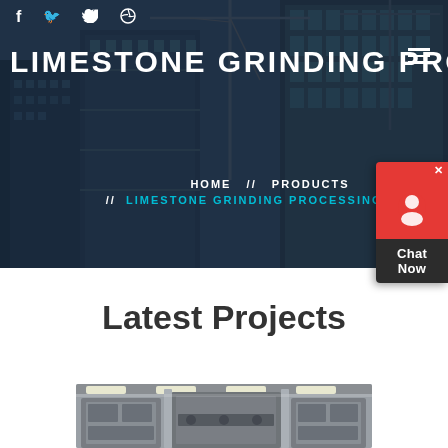[Figure (photo): Construction site with tall buildings under construction and cranes against blue sky, overlaid with dark semi-transparent gradient. Social media icons (Facebook, Twitter, Dribbble) visible at top left. Site title 'LIMESTONE GRINDING PROCESS' in large white bold uppercase text. Hamburger menu icon at top right.]
HOME // PRODUCTS // LIMESTONE GRINDING PROCESSING PLANT
Latest Projects
[Figure (photo): Industrial machinery interior photo showing processing plant equipment with metal structures and lighting.]